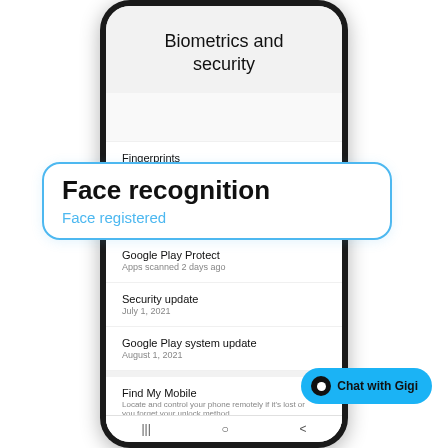[Figure (screenshot): Samsung Android phone screenshot showing the Biometrics and security settings screen. The screen displays menu items: Face recognition (highlighted with blue border callout), Fingerprints (1 fingerprint added), More biometrics settings, Security section with Google Play Protect (Apps scanned 2 days ago), Security update (July 1, 2021), Google Play system update (August 1, 2021), Find My Mobile with description. A blue 'Chat with Gigi' button appears in the lower right corner.]